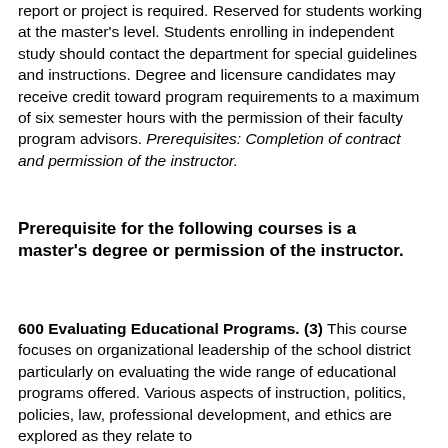report or project is required. Reserved for students working at the master's level. Students enrolling in independent study should contact the department for special guidelines and instructions. Degree and licensure candidates may receive credit toward program requirements to a maximum of six semester hours with the permission of their faculty program advisors. Prerequisites: Completion of contract and permission of the instructor.
Prerequisite for the following courses is a master's degree or permission of the instructor.
600 Evaluating Educational Programs. (3) This course focuses on organizational leadership of the school district particularly on evaluating the wide range of educational programs offered. Various aspects of instruction, politics, policies, law, professional development, and ethics are explored as they relate to